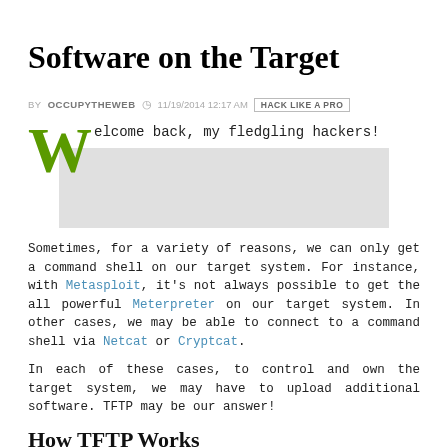Software on the Target
BY OCCUPYTHEWEB  11/19/2014 12:17 AM  HACK LIKE A PRO
Welcome back, my fledgling hackers!
[Figure (other): Gray placeholder image block]
Sometimes, for a variety of reasons, we can only get a command shell on our target system. For instance, with Metasploit, it's not always possible to get the all powerful Meterpreter on our target system. In other cases, we may be able to connect to a command shell via Netcat or Cryptcat.
In each of these cases, to control and own the target system, we may have to upload additional software. TFTP may be our answer!
How TFTP Works